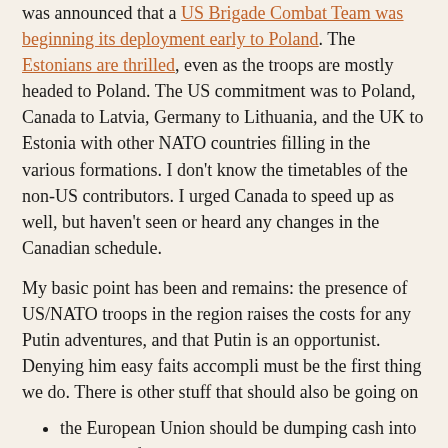was announced that a US Brigade Combat Team was beginning its deployment early to Poland. The Estonians are thrilled, even as the troops are mostly headed to Poland. The US commitment was to Poland, Canada to Latvia, Germany to Lithuania, and the UK to Estonia with other NATO countries filling in the various formations. I don't know the timetables of the non-US contributors. I urged Canada to speed up as well, but haven't seen or heard any changes in the Canadian schedule.
My basic point has been and remains: the presence of US/NATO troops in the region raises the costs for any Putin adventures, and that Putin is an opportunist. Denying him easy faits accompli must be the first thing we do. There is other stuff that should also be going on
the European Union should be dumping cash into the parts of Latvia and Estonia with large Russian-speaking populations to remind them that living on this side is desirable. So that they don't go along with any rabble-rousing/little green man hybrid stuff that Putin cooks up.
more pressure should be placed on Estonia and Latvia